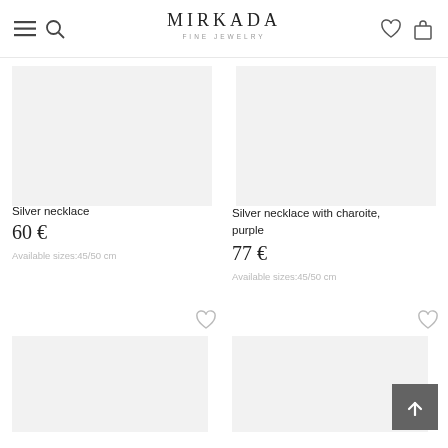MIRKADA FINE JEWELRY
Silver necklace
60 €
Available sizes:45/50 cm
Silver necklace with charoite, purple
77 €
Available sizes:45/50 cm